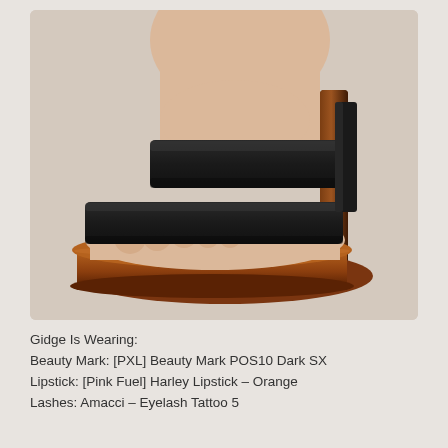[Figure (photo): Close-up render of a platform high heel sandal with two black leather straps across the foot, a tall dark brown wooden-look heel, and a chunky brown platform sole. The foot/ankle of a virtual character is visible, with toenails painted in blue and green. Background is a warm beige/taupe color.]
Gidge Is Wearing:
Beauty Mark: [PXL] Beauty Mark POS10 Dark SX
Lipstick: [Pink Fuel] Harley Lipstick – Orange
Lashes: Amacci – Eyelash Tattoo 5